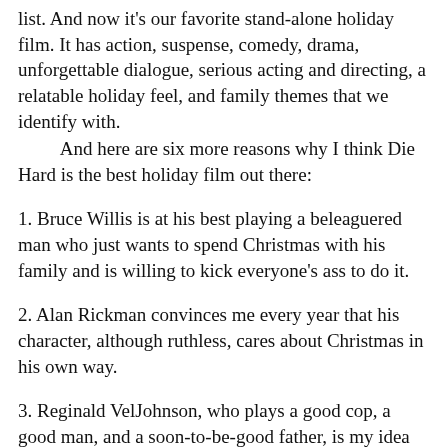list. And now it's our favorite stand-alone holiday film. It has action, suspense, comedy, drama, unforgettable dialogue, serious acting and directing, a relatable holiday feel, and family themes that we identify with.
And here are six more reasons why I think Die Hard is the best holiday film out there:
1. Bruce Willis is at his best playing a beleaguered man who just wants to spend Christmas with his family and is willing to kick everyone's ass to do it.
2. Alan Rickman convinces me every year that his character, although ruthless, cares about Christmas in his own way.
3. Reginald VelJohnson, who plays a good cop, a good man, and a soon-to-be-good father, is my idea of Santa Claus. (Really, he is the hero of the film.)
4. Paul Gleason is a hilarious Scrooge--Deputy Police Chief Dwayne T. Robinson!
5. All supporting cast members have a moment to shine and show their holiday spirit.